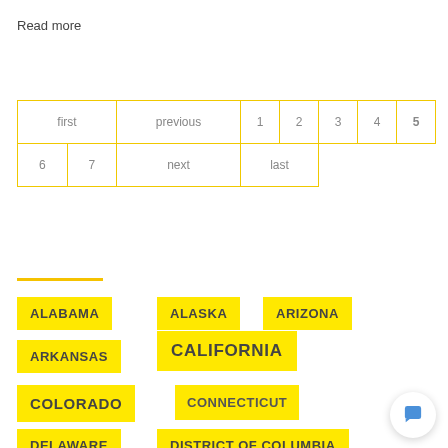Read more
| first | previous | 1 | 2 | 3 | 4 | 5 |
| 6 | 7 | next | last |  |  |  |
ALABAMA
ALASKA
ARIZONA
ARKANSAS
CALIFORNIA
COLORADO
CONNECTICUT
DELAWARE
DISTRICT OF COLUMBIA